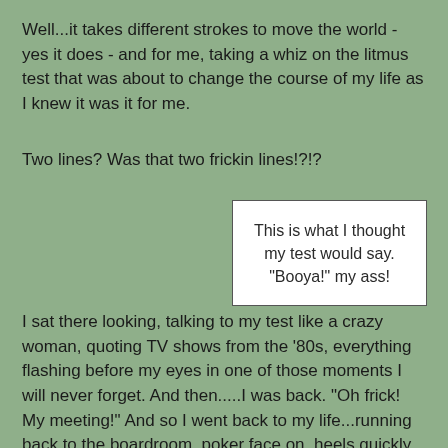Well...it takes different strokes to move the world - yes it does - and for me, taking a whiz on the litmus test that was about to change the course of my life as I knew it was it for me.
Two lines? Was that two frickin lines!?!?
This is what I thought my test would say. "Booya!" my ass!
I sat there looking, talking to my test like a crazy woman, quoting TV shows from the '80s, everything flashing before my eyes in one of those moments I will never forget. And then.....I was back. "Oh frick! My meeting!" And so I went back to my life...running back to the boardroom, poker face on, heels quickly clicking, pee stick shoved for now inside the drug store bag inside my purse.